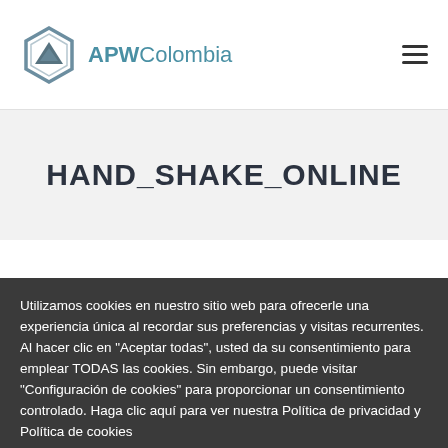[Figure (logo): APW Colombia logo with geometric hexagon/triangle icon and text 'APWColombia']
HAND_SHAKE_ONLINE
Utilizamos cookies en nuestro sitio web para ofrecerle una experiencia única al recordar sus preferencias y visitas recurrentes. Al hacer clic en "Aceptar todas", usted da su consentimiento para emplear TODAS las cookies. Sin embargo, puede visitar "Configuración de cookies" para proporcionar un consentimiento controlado. Haga clic aquí para ver nuestra Política de privacidad y Política de cookies
¿Cómo le podemos ayudar?